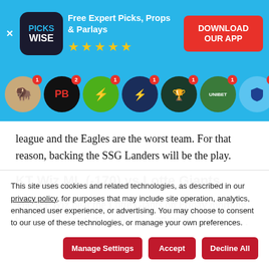[Figure (screenshot): Pickswise app advertisement banner with logo, tagline 'Free Expert Picks, Props & Parlays', five gold stars, and red 'DOWNLOAD OUR APP' button]
[Figure (screenshot): Row of sportsbook circular icons with notification badges on a blue background]
league and the Eagles are the worst team. For that reason, backing the SSG Landers will be the play.
KT Wiz ML (-170) vs Lotte Giants
The KT Wiz beat the Lotte Giants on Friday morning by a score of 8-1. They are now 37-20. So, they are…
This site uses cookies and related technologies, as described in our privacy policy, for purposes that may include site operation, analytics, enhanced user experience, or advertising. You may choose to consent to our use of these technologies, or manage your own preferences.